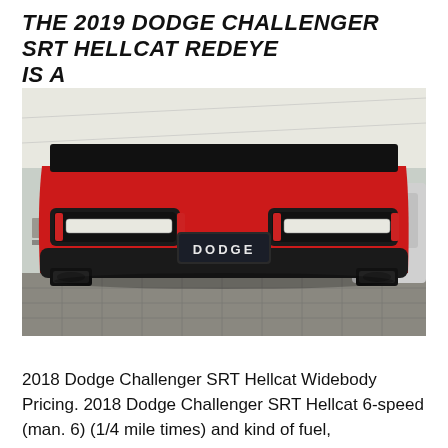THE 2019 DODGE CHALLENGER SRT HELLCAT REDEYE IS A
[Figure (photo): Rear view of a red 2019 Dodge Challenger SRT Hellcat Redeye with black DODGE license plate surround, dual exhaust tips, distinctive LED tail lights with red accents, photographed at an outdoor event under a white tent. People visible in the background.]
2018 Dodge Challenger SRT Hellcat Widebody Pricing. 2018 Dodge Challenger SRT Hellcat 6-speed (man. 6) (1/4 mile times) and kind of fuel,